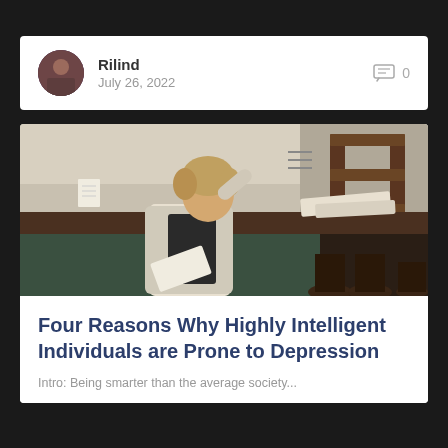Rilind
July 26, 2022
0
[Figure (photo): A man sitting at a bar or table, hunched over reading papers, with his hand on his head, looking stressed or contemplative. Dark wooden furniture, shelves in the background.]
Four Reasons Why Highly Intelligent Individuals are Prone to Depression
Intro: Being smarter than the average society...